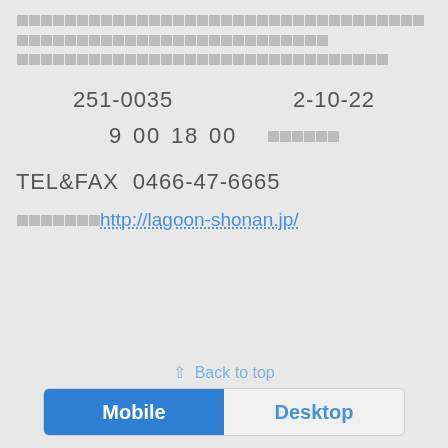〒251-0035　藤沢市辻堂元町2-10-22
営業時間 9:00〜18:00　年中無休
TEL&FAX  0466-47-6665
ホームページ http://lagoon-shonan.jp/
⇧ Back to top
Mobile  Desktop